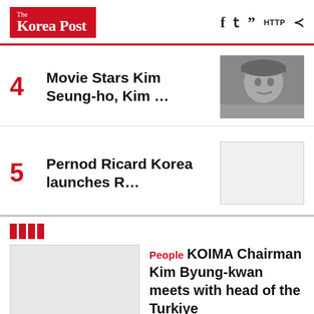The Korea Post — social icons: f, twitter, quote, HTTP, share
4 Movie Stars Kim Seung-ho, Kim …
5 Pernod Ricard Korea launches R…
||||
People KOIMA Chairman Kim Byung-kwan meets with head of the Turkiye